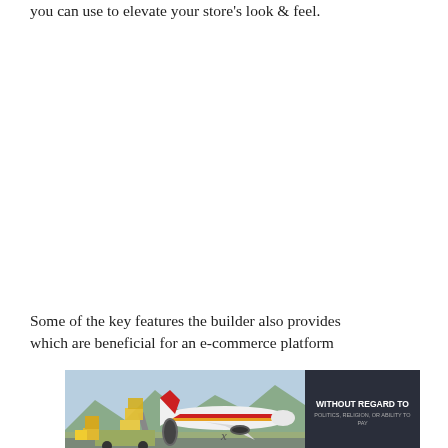you can use to elevate your store's look & feel.
Some of the key features the builder also provides which are beneficial for an e-commerce platform
[Figure (photo): Advertisement banner showing a cargo airplane being loaded with boxes on an airport tarmac, with a Southwest Airlines-style plane in the background. Dark box on right reads 'WITHOUT REGARD TO POLITICS, RELIGION, OR ABILITY TO PAY']
x